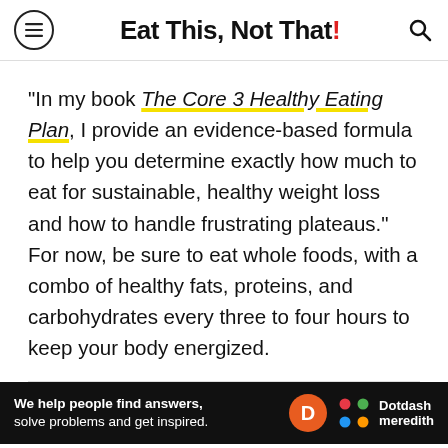Eat This, Not That!
"In my book The Core 3 Healthy Eating Plan, I provide an evidence-based formula to help you determine exactly how much to eat for sustainable, healthy weight loss and how to handle frustrating plateaus." For now, be sure to eat whole foods, with a combo of healthy fats, proteins, and carbohydrates every three to four hours to keep your body energized.
4  Snackright...